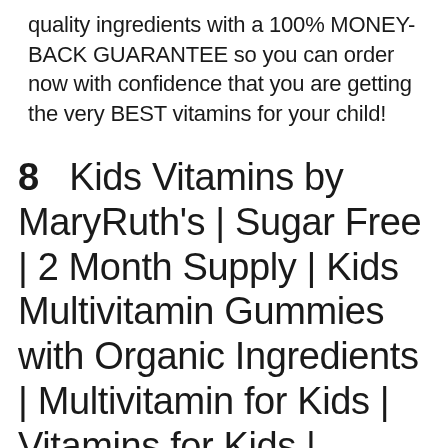quality ingredients with a 100% MONEY-BACK GUARANTEE so you can order now with confidence that you are getting the very BEST vitamins for your child!
8  Kids Vitamins by MaryRuth's | Sugar Free | 2 Month Supply | Kids Multivitamin Gummies with Organic Ingredients | Multivitamin for Kids | Vitamins for Kids | Vegan | Non-GMO | Gluten Free | 60 Count